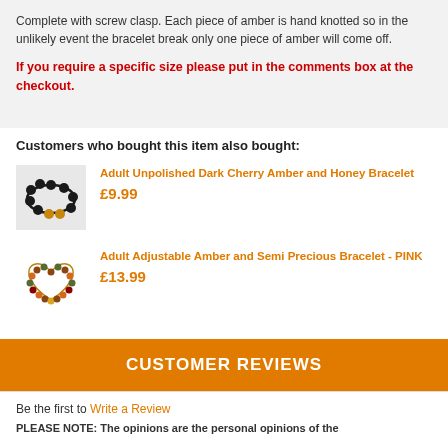Complete with screw clasp. Each piece of amber is hand knotted so in the unlikely event the bracelet break only one piece of amber will come off.
If you require a specific size please put in the comments box at the checkout.
Customers who bought this item also bought:
[Figure (photo): Dark cherry amber and honey bracelet product image]
Adult Unpolished Dark Cherry Amber and Honey Bracelet £9.99
[Figure (photo): Adult adjustable amber and semi precious bracelet pink product image heart shaped]
Adult Adjustable Amber and Semi Precious Bracelet - PINK £13.99
CUSTOMER REVIEWS
Be the first to Write a Review
PLEASE NOTE: The opinions are the personal opinions of the